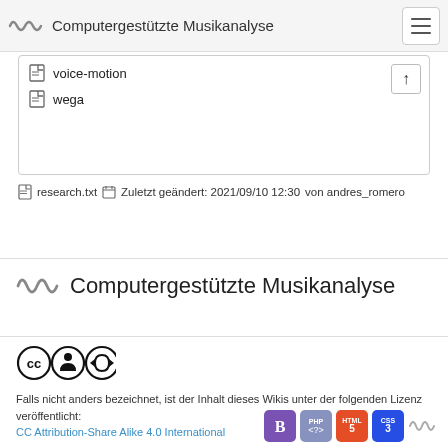Computergestützte Musikanalyse
voice-motion
wega
research.txt  Zuletzt geändert: 2021/09/10 12:30  von andres_romero
Computergestützte Musikanalyse
[Figure (logo): CC Attribution-Share Alike license icons (CC, person, share-alike circles)]
Falls nicht anders bezeichnet, ist der Inhalt dieses Wikis unter der folgenden Lizenz veröffentlicht:
CC Attribution-Share Alike 4.0 International
[Figure (logo): Bootstrap, PHP, HTML5, CSS3, and waveform technology badges]